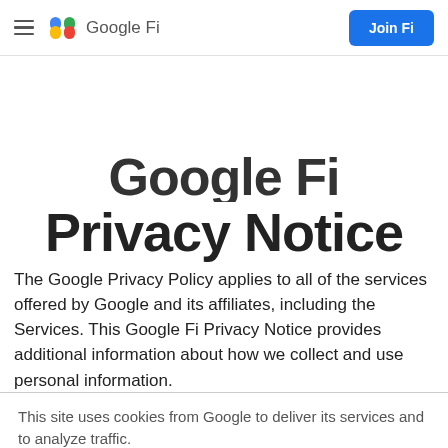Google Fi — Join Fi
Google Fi Privacy Notice
The Google Privacy Policy applies to all of the services offered by Google and its affiliates, including the Services. This Google Fi Privacy Notice provides additional information about how we collect and use personal information.
This site uses cookies from Google to deliver its services and to analyze traffic.
See details | Ok, got it